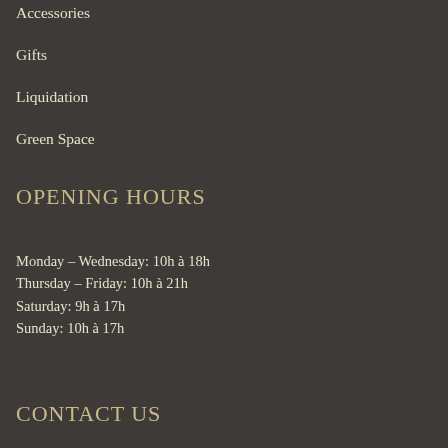Accessories
Gifts
Liquidation
Green Space
OPENING HOURS
Monday – Wednesday: 10h à 18h
Thursday – Friday: 10h à 21h
Saturday: 9h à 17h
Sunday: 10h à 17h
CONTACT US